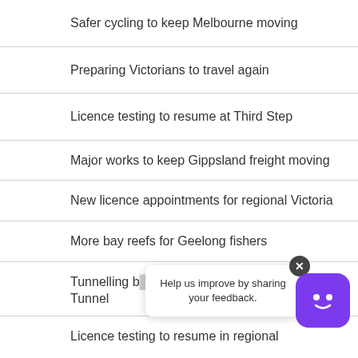Safer cycling to keep Melbourne moving
Preparing Victorians to travel again
Licence testing to resume at Third Step
Major works to keep Gippsland freight moving
New licence appointments for regional Victoria
More bay reefs for Geelong fishers
Tunnelling b[...] for [...] Tunnel
Licence testing to resume in regional